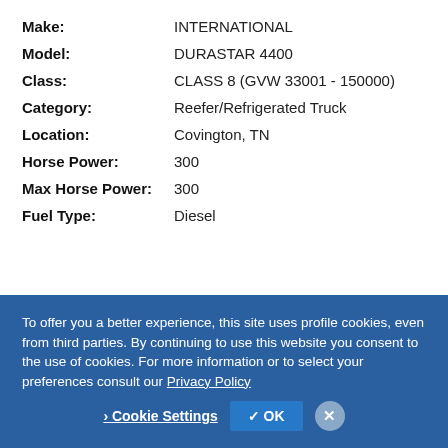Make: INTERNATIONAL
Model: DURASTAR 4400
Class: CLASS 8 (GVW 33001 - 150000)
Category: Reefer/Refrigerated Truck
Location: Covington, TN
Horse Power: 300
Max Horse Power: 300
Fuel Type: Diesel
To offer you a better experience, this site uses profile cookies, even from third parties. By continuing to use this website you consent to the use of cookies. For more information or to select your preferences consult our Privacy Policy